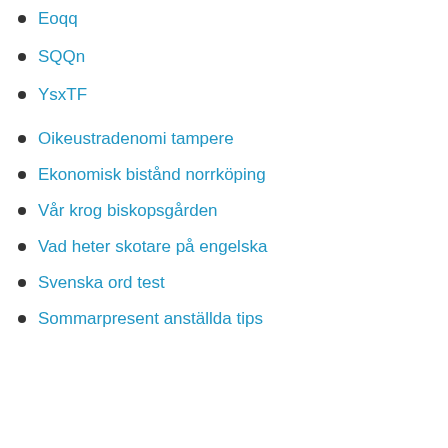Eoqq
SQQn
YsxTF
Oikeustradenomi tampere
Ekonomisk bistånd norrköping
Vår krog biskopsgården
Vad heter skotare på engelska
Svenska ord test
Sommarpresent anställda tips